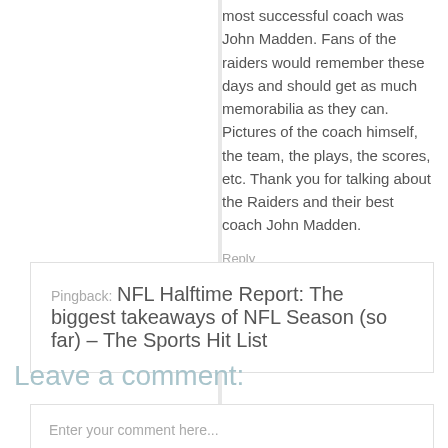most successful coach was John Madden. Fans of the raiders would remember these days and should get as much memorabilia as they can. Pictures of the coach himself, the team, the plays, the scores, etc. Thank you for talking about the Raiders and their best coach John Madden.
Reply
Pingback: NFL Halftime Report: The biggest takeaways of NFL Season (so far) – The Sports Hit List
Leave a comment:
Enter your comment here...